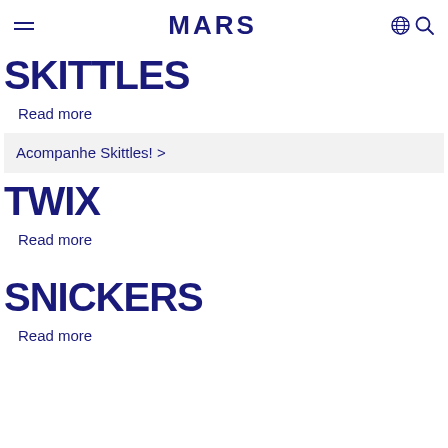MARS
SKITTLES
Read more
Acompanhe Skittles! >
TWIX
Read more
SNICKERS
Read more